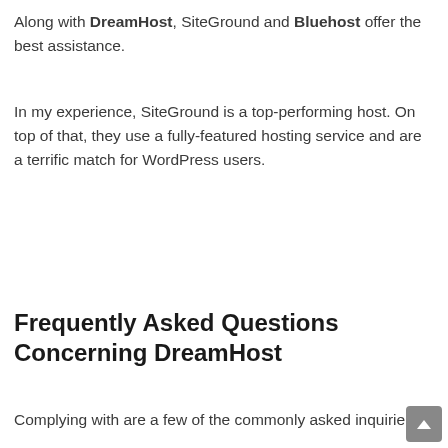Along with DreamHost, SiteGround and Bluehost offer the best assistance.
In my experience, SiteGround is a top-performing host. On top of that, they use a fully-featured hosting service and are a terrific match for WordPress users.
Frequently Asked Questions Concerning DreamHost
Complying with are a few of the commonly asked inquirie